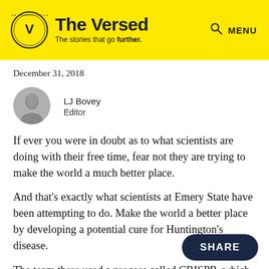The Versed — The stories that go further.
December 31, 2018
[Figure (photo): Black and white circular headshot portrait of LJ Bovey]
LJ Bovey
Editor
If ever you were in doubt as to what scientists are doing with their free time, fear not they are trying to make the world a much better place.
And that's exactly what scientists at Emery State have been attempting to do. Make the world a better place by developing a potential cure for Huntington's disease.
The team there used a process called CRISPR, which